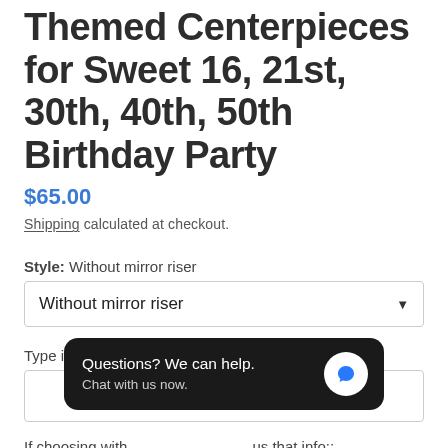Themed Centerpieces for Sweet 16, 21st, 30th, 40th, 50th Birthday Party
$65.00
Shipping calculated at checkout.
Style:  Without mirror riser
Without mirror riser
Type in the brand that you would like:
If choosing with us that info::
Questions? We can help. Chat with us now.